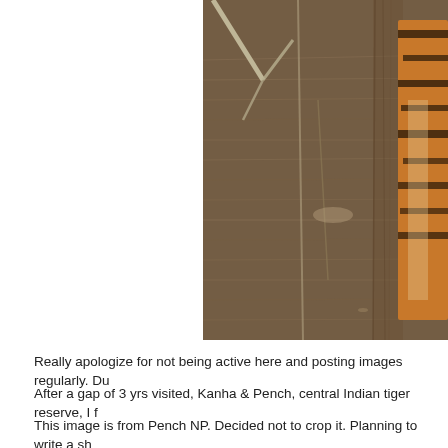[Figure (photo): A tiger wading through water in a natural reserve. The tiger is partially visible on the right side of the image, with water ripples and a bare tree branch in the foreground. The water has a brownish muddy color reflecting the surroundings.]
Really apologize for not being active here and posting images regularly. Du
After a gap of 3 yrs visited, Kanha & Pench, central Indian tiger reserve, I f
This image is from Pench NP. Decided not to crop it. Planning to write a sh